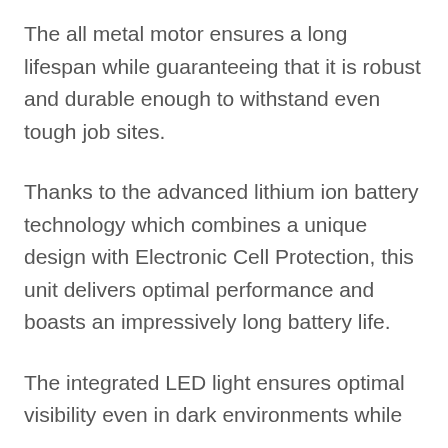The all metal motor ensures a long lifespan while guaranteeing that it is robust and durable enough to withstand even tough job sites.
Thanks to the advanced lithium ion battery technology which combines a unique design with Electronic Cell Protection, this unit delivers optimal performance and boasts an impressively long battery life.
The integrated LED light ensures optimal visibility even in dark environments while